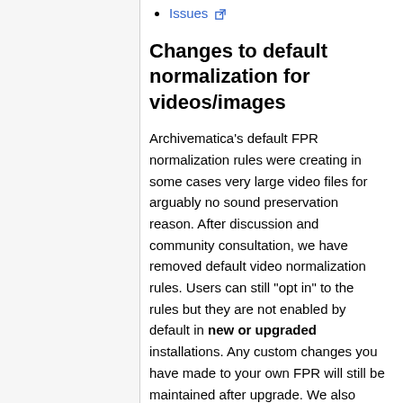Issues
Changes to default normalization for videos/images
Archivematica's default FPR normalization rules were creating in some cases very large video files for arguably no sound preservation reason. After discussion and community consultation, we have removed default video normalization rules. Users can still "opt in" to the rules but they are not enabled by default in new or upgraded installations. Any custom changes you have made to your own FPR will still be maintained after upgrade. We also removed default rules for preservation for PNG, JPG, GIF and DNG still images. For full details and affected